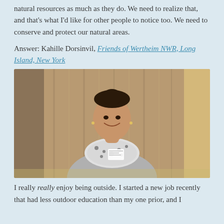natural resources as much as they do. We need to realize that, and that's what I'd like for other people to notice too. We need to conserve and protect our natural areas.
Answer: Kahille Dorsinvil, Friends of Wertheim NWR, Long Island, New York
[Figure (photo): A young woman smiling, wearing a grey sweater and a black-and-white patterned scarf with a conference name badge, standing in front of tan curtains.]
I really really enjoy being outside. I started a new job recently that had less outdoor education than my one prior, and I